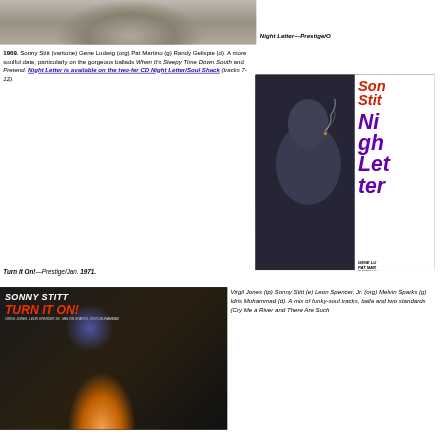[Figure (photo): Black and white photo of a pianist/musician at the top of the page]
Night Letter—Prestige/O
1969. Sonny Stitt (varitone) Gene Ludwig (org) Pat Martino (g) Randy Gelispie (d). A more soulful date, particularly on the gorgeous ballads When It's Sleepy Time Down South and Pretend. Night Letter is available on the two-fer CD Night Letter/Soul Shack (tracks 7-12).
[Figure (photo): Album cover for Night Letter by Sonny Stitt on Prestige. Left half shows black and white photo of man smoking. Right half shows red text 'Sonny Stitt' and purple text 'Night Letter' with credits listing Gene Ludwig, Pat Martino, Randy Gelispie.]
Turn It On!—Prestige/Jan. 1971.
[Figure (photo): Album cover for Turn It On! by Sonny Stitt. Dark background with musician playing saxophone, blue spotlight. Text: SONNY STITT TURN IT ON! with credits Virgil Jones, Leon Spencer Jr., Melvin Sparks, Idris Muhammad.]
Virgil Jones (tp) Sonny Stitt (e) Leon Spencer, Jr. (org) Melvin Sparks (g) Idris Muhammad (d). A mix of funky-soul tracks, balla and two standards (Cry Me a River and There Are Such